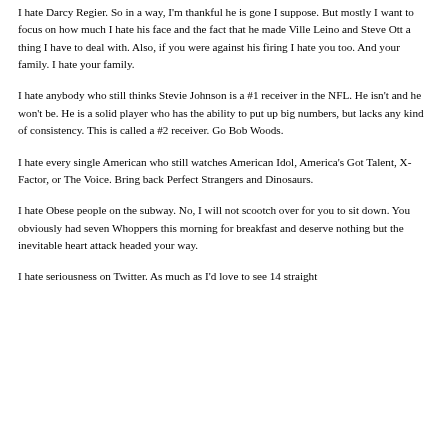I hate Darcy Regier. So in a way, I'm thankful he is gone I suppose. But mostly I want to focus on how much I hate his face and the fact that he made Ville Leino and Steve Ott a thing I have to deal with. Also, if you were against his firing I hate you too. And your family. I hate your family.
I hate anybody who still thinks Stevie Johnson is a #1 receiver in the NFL. He isn't and he won't be. He is a solid player who has the ability to put up big numbers, but lacks any kind of consistency. This is called a #2 receiver. Go Bob Woods.
I hate every single American who still watches American Idol, America's Got Talent, X-Factor, or The Voice. Bring back Perfect Strangers and Dinosaurs.
I hate Obese people on the subway. No, I will not scootch over for you to sit down. You obviously had seven Whoppers this morning for breakfast and deserve nothing but the inevitable heart attack headed your way.
I hate seriousness on Twitter. As much as I'd love to see 14 straight